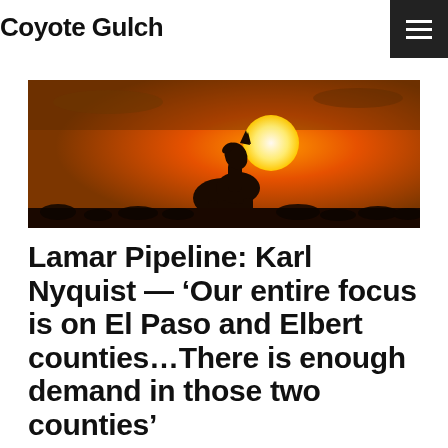Coyote Gulch
[Figure (photo): Silhouette of a coyote howling at sunset with a large orange sun in the background and dark grass/vegetation along the bottom edge]
Lamar Pipeline: Karl Nyquist — ‘Our entire focus is on El Paso and Elbert counties…There is enough demand in those two counties’